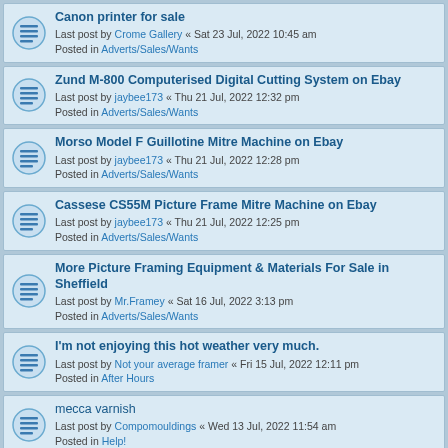Canon printer for sale
Last post by Crome Gallery « Sat 23 Jul, 2022 10:45 am
Posted in Adverts/Sales/Wants
Zund M-800 Computerised Digital Cutting System on Ebay
Last post by jaybee173 « Thu 21 Jul, 2022 12:32 pm
Posted in Adverts/Sales/Wants
Morso Model F Guillotine Mitre Machine on Ebay
Last post by jaybee173 « Thu 21 Jul, 2022 12:28 pm
Posted in Adverts/Sales/Wants
Cassese CS55M Picture Frame Mitre Machine on Ebay
Last post by jaybee173 « Thu 21 Jul, 2022 12:25 pm
Posted in Adverts/Sales/Wants
More Picture Framing Equipment & Materials For Sale in Sheffield
Last post by Mr.Framey « Sat 16 Jul, 2022 3:13 pm
Posted in Adverts/Sales/Wants
I'm not enjoying this hot weather very much.
Last post by Not your average framer « Fri 15 Jul, 2022 12:11 pm
Posted in After Hours
mecca varnish
Last post by Compomouldings « Wed 13 Jul, 2022 11:54 am
Posted in Help!
Picture Framing Equipment & Materials For Sale in Sheffield
Last post by Mr.Framey « Tue 12 Jul, 2022 8:33 pm
Posted in Adverts/Sales/Wants